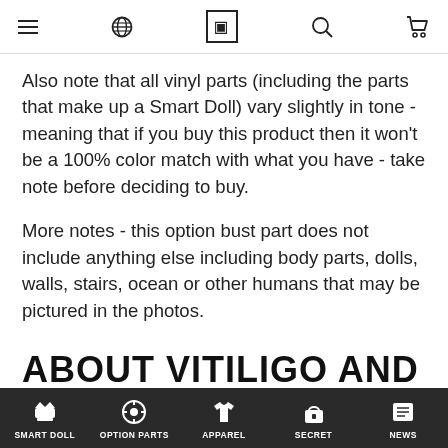[navigation header with menu, globe, logo, search, cart icons]
Also note that all vinyl parts (including the parts that make up a Smart Doll) vary slightly in tone - meaning that if you buy this product then it won't be a 100% color match with what you have - take note before deciding to buy.
More notes - this option bust part does not include anything else including body parts, dolls, walls, stairs, ocean or other humans that may be pictured in the photos.
ABOUT VITILIGO AND
SMART DOLL | OPTION PARTS | APPAREL | SECRET | NEWS